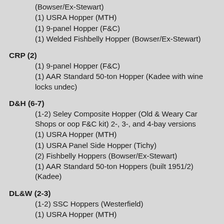(Bowser/Ex-Stewart)
(1) USRA Hopper (MTH)
(1) 9-panel Hopper (F&C)
(1) Welded Fishbelly Hopper (Bowser/Ex-Stewart)
CRP (2)
(1) 9-panel Hopper (F&C)
(1) AAR Standard 50-ton Hopper (Kadee with wine locks undec)
D&H (6-7)
(1-2) Seley Composite Hopper (Old & Weary Car Shops or oop F&C kit) 2-, 3-, and 4-bay versions
(1) USRA Hopper (MTH)
(1) USRA Panel Side Hopper (Tichy)
(2) Fishbelly Hoppers (Bowser/Ex-Stewart)
(1) AAR Standard 50-ton Hoppers (built 1951/2)(Kadee)
DL&W (2-3)
(1-2) SSC Hoppers (Westerfield)
(1) USRA Hopper (MTH)
ERIE (4-7)
(0-1) Horizontal Rib Hopper (F&C)